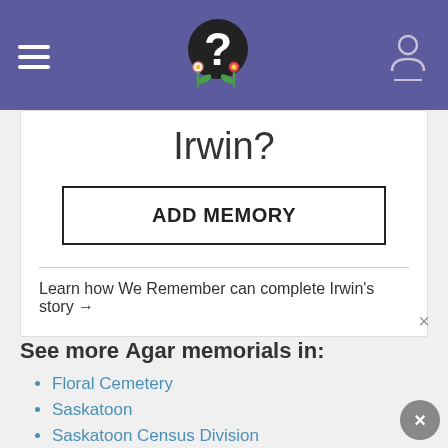Navigation bar with hamburger menu, logo, and user icon
Irwin?
ADD MEMORY
Learn how We Remember can complete Irwin's story →
Sponsored by Ancestry
See more Agar memorials in:
Floral Cemetery
Saskatoon
Saskatoon Census Division
Saskatchewan
Canada